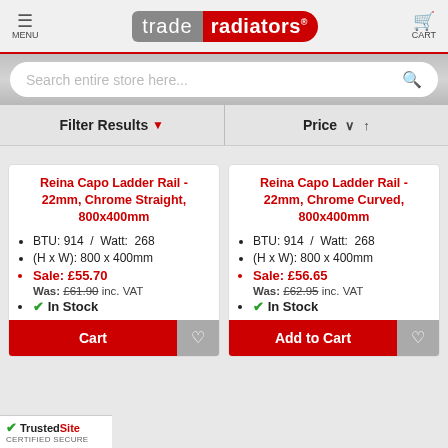MENU | trade radiators | CART
Search entire store here...
Filter Results | Price
Reina Capo Ladder Rail - 22mm, Chrome Straight, 800x400mm
BTU: 914 / Watt: 268
(H x W): 800 x 400mm
Sale: £55.70
Was: £61.90 inc. VAT
In Stock
Reina Capo Ladder Rail - 22mm, Chrome Curved, 800x400mm
BTU: 914 / Watt: 268
(H x W): 800 x 400mm
Sale: £56.65
Was: £62.95 inc. VAT
In Stock